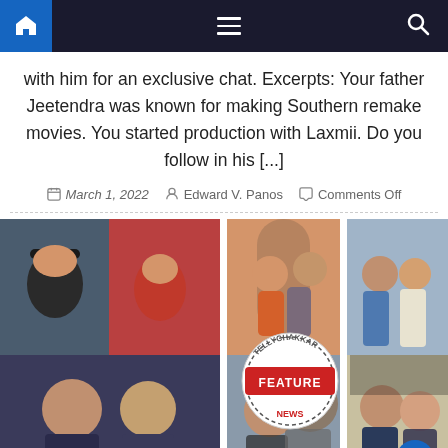Navigation bar with home, menu, and search icons
with him for an exclusive chat. Excerpts: Your father Jeetendra was known for making Southern remake movies. You started production with Laxmii. Do you follow in his [...]
March 1, 2022   Edward V. Panos   Comments Off
[Figure (photo): Collage of Bollywood celebrity couples including Ranveer Singh and Deepika Padukone, a couple in orange and grey outfits in an archway, Akshay Kumar with a woman, Saif Ali Khan and Kareena Kapoor, Aishwarya Rai and Abhishek Bachchan, and Rajkummar Rao with a partner. A TellyChakkar Feature News badge overlays the center.]